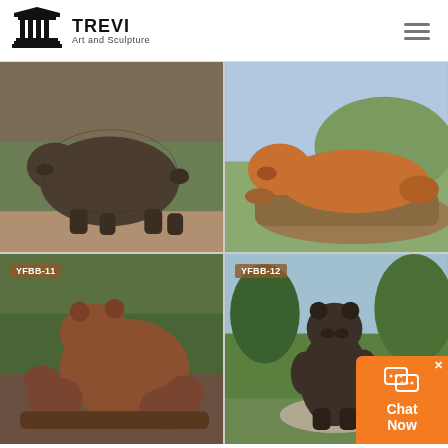TREVI Art and Sculpture
[Figure (photo): Bronze bear sculpture walking, full body side view, outdoors on stone ground]
[Figure (photo): Bronze bear sculpture resting/leaning on a log or rock, outdoors with green hills in background]
[Figure (photo): YFBB-11: Bronze sculpture of mother bear with two bear cubs playing together]
[Figure (photo): YFBB-12: Bronze bear sculpture standing upright on a stone base in a garden setting]